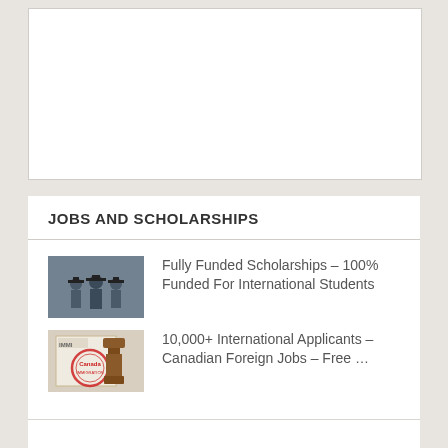[Figure (other): White advertisement box placeholder]
JOBS AND SCHOLARSHIPS
[Figure (photo): Graduates in cap and gown, scholarship article thumbnail]
Fully Funded Scholarships – 100% Funded For International Students
[Figure (photo): Canadian immigration stamp image, foreign jobs article thumbnail]
10,000+ International Applicants – Canadian Foreign Jobs – Free …